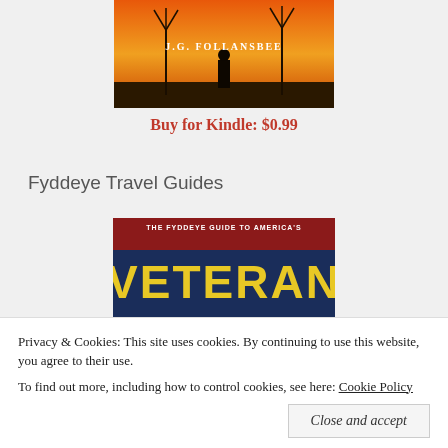[Figure (illustration): Book cover for J.G. Follansbee with silhouette figure and wind turbines against orange sky]
Buy for Kindle: $0.99
Fyddeye Travel Guides
[Figure (illustration): The Fyddeye Guide to America's Veteran - book cover with dark blue and red background, large yellow VETERAN text]
Privacy & Cookies: This site uses cookies. By continuing to use this website, you agree to their use. To find out more, including how to control cookies, see here: Cookie Policy
Close and accept